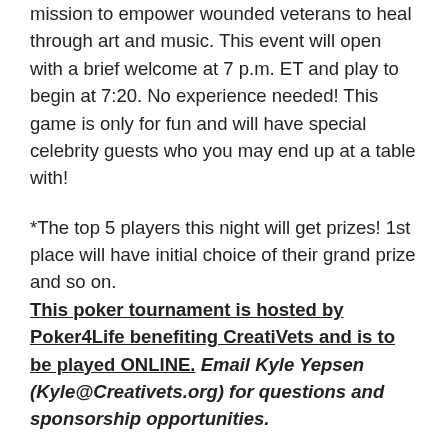mission to empower wounded veterans to heal through art and music. This event will open with a brief welcome at 7 p.m. ET and play to begin at 7:20. No experience needed! This game is only for fun and will have special celebrity guests who you may end up at a table with!
*The top 5 players this night will get prizes! 1st place will have initial choice of their grand prize and so on. This poker tournament is hosted by Poker4Life benefiting CreatiVets and is to be played ONLINE. Email Kyle Yepsen (Kyle@Creativets.org) for questions and sponsorship opportunities.
Prizes Include:
♠ Two tickets to the CMA Awards in Nashville, TN